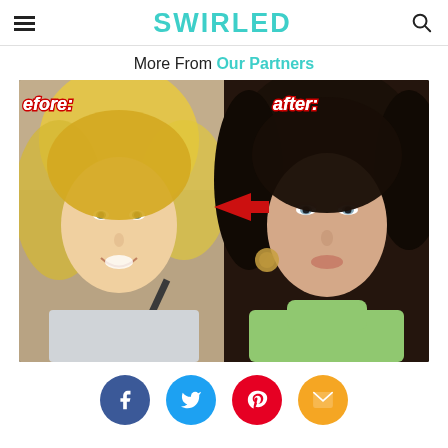SWIRLED
More From Our Partners
[Figure (photo): Before and after comparison image showing two women: left panel labeled 'before:' shows a young blonde woman with no makeup in a car; right panel labeled 'after:' shows a woman with dark hair, makeup, and a green turtleneck. A red arrow points from the before to the after panel.]
Social share buttons: Facebook, Twitter, Pinterest, Email